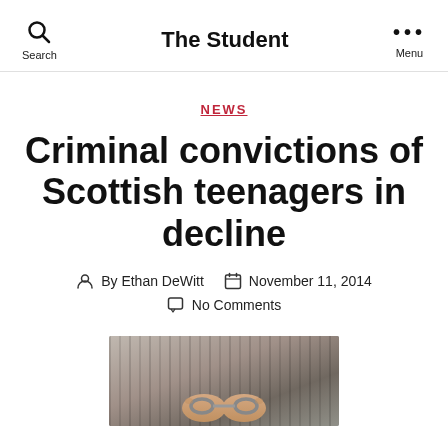The Student | Search | Menu
NEWS
Criminal convictions of Scottish teenagers in decline
By Ethan DeWitt   November 11, 2014   No Comments
[Figure (photo): A person with hands in handcuffs behind their back, close-up photo]